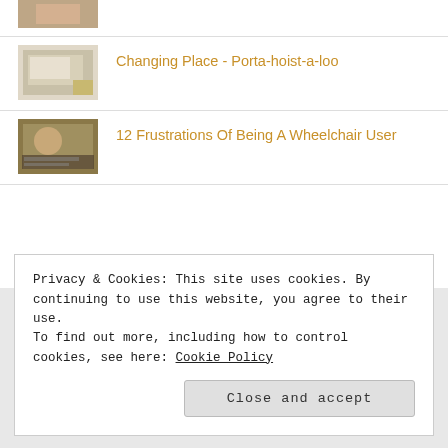(partial item at top)
Changing Place - Porta-hoist-a-loo
12 Frustrations Of Being A Wheelchair User
Privacy & Cookies: This site uses cookies. By continuing to use this website, you agree to their use.
To find out more, including how to control cookies, see here: Cookie Policy
Close and accept